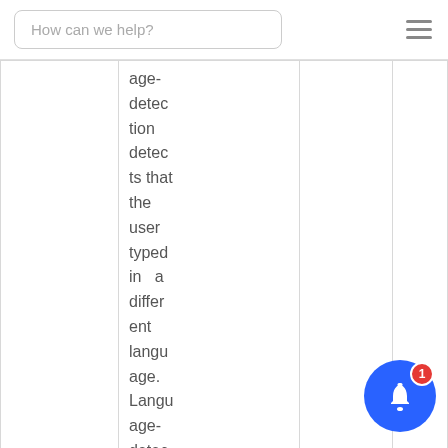How can we help?
|  | age-detection detects that the user typed in a different language. Language-detec |  |  |
[Figure (illustration): Blue circular notification bell button with a red badge showing the number 1]